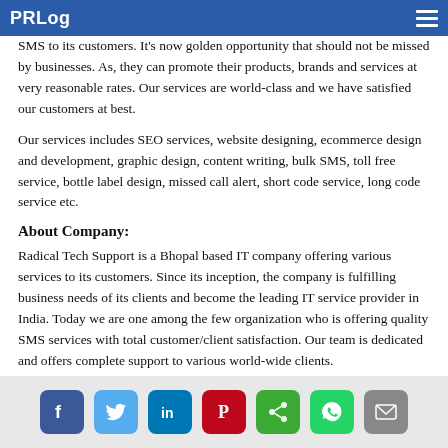PRLog
SMS to its customers. It's now golden opportunity that should not be missed by businesses. As, they can promote their products, brands and services at very reasonable rates. Our services are world-class and we have satisfied our customers at best.
Our services includes SEO services, website designing, ecommerce design and development, graphic design, content writing, bulk SMS, toll free service, bottle label design, missed call alert, short code service, long code service etc.
About Company:
Radical Tech Support is a Bhopal based IT company offering various services to its customers. Since its inception, the company is fulfilling business needs of its clients and become the leading IT service provider in India. Today we are one among the few organization who is offering quality SMS services with total customer/client satisfaction. Our team is dedicated and offers complete support to various world-wide clients.
Contact
Ashutosh Tiwari
Social share icons: Facebook, Twitter, LinkedIn, Pinterest, Share, WhatsApp, Email